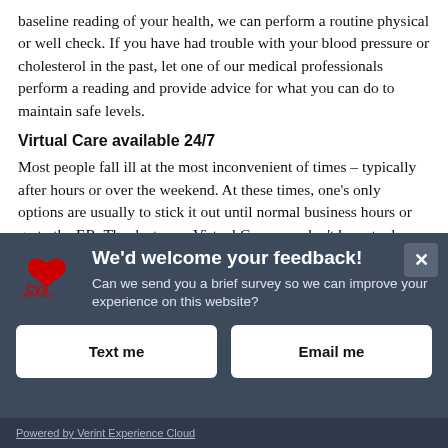baseline reading of your health, we can perform a routine physical or well check. If you have had trouble with your blood pressure or cholesterol in the past, let one of our medical professionals perform a reading and provide advice for what you can do to maintain safe levels.
Virtual Care available 24/7
Most people fall ill at the most inconvenient of times – typically after hours or over the weekend. At these times, one's only options are usually to stick it out until normal business hours or go to the ER. Thanks to our Virtual Care, you don't have to do either. Thanks to this feature, you can [connect virtually with a certified health care provider from...]
[Figure (screenshot): CVS Pharmacy feedback survey overlay with dark blue/grey background. Contains CVS heart logo, title 'We'd welcome your feedback!', subtitle 'Can we send you a brief survey so we can improve your experience on this website?', two white buttons labeled 'Text me' and 'Email me', close X button top-right, and 'Powered by Verint Experience Cloud' footer.]